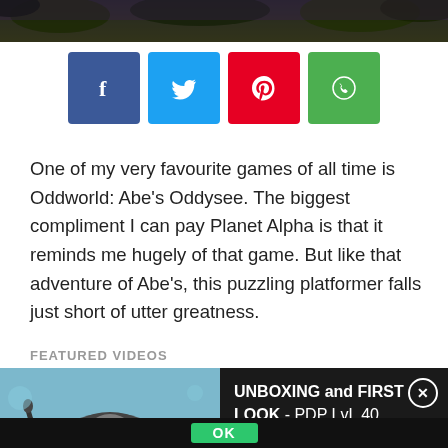[Figure (photo): Dark nature/forest scene header banner image]
[Figure (infographic): Social share buttons: Facebook (blue), Twitter (light blue), Pinterest (red), WhatsApp (green)]
One of my very favourite games of all time is Oddworld: Abe’s Oddysee. The biggest compliment I can pay Planet Alpha is that it reminds me hugely of that game. But like that adventure of Abe’s, this puzzling platformer falls just short of utter greatness.
FEATURED VIDEOS
[Figure (screenshot): Video thumbnail showing a gaming headset (PDP LvL 40 Wired Gaming Headset for Xbox One) with a play button overlay. Right panel shows title: UNBOXING and FIRST LOOK - PDP LvL 40 Wired Gaming Headset for Xbox One with a close button. Bottom shows an OK button.]